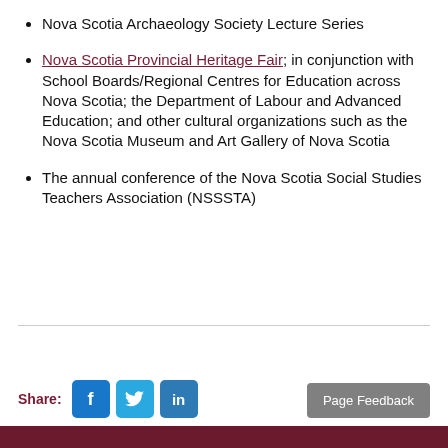Nova Scotia Archaeology Society Lecture Series
Nova Scotia Provincial Heritage Fair; in conjunction with School Boards/Regional Centres for Education across Nova Scotia; the Department of Labour and Advanced Education; and other cultural organizations such as the Nova Scotia Museum and Art Gallery of Nova Scotia
The annual conference of the Nova Scotia Social Studies Teachers Association (NSSSTA)
Share: [Facebook] [Twitter] [LinkedIn]  Page Feedback